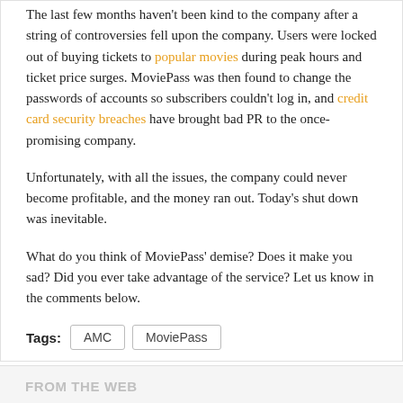The last few months haven't been kind to the company after a string of controversies fell upon the company. Users were locked out of buying tickets to popular movies during peak hours and ticket price surges. MoviePass was then found to change the passwords of accounts so subscribers couldn't log in, and credit card security breaches have brought bad PR to the once-promising company.
Unfortunately, with all the issues, the company could never become profitable, and the money ran out. Today's shut down was inevitable.
What do you think of MoviePass' demise? Does it make you sad? Did you ever take advantage of the service? Let us know in the comments below.
Tags: AMC MoviePass
FROM THE WEB